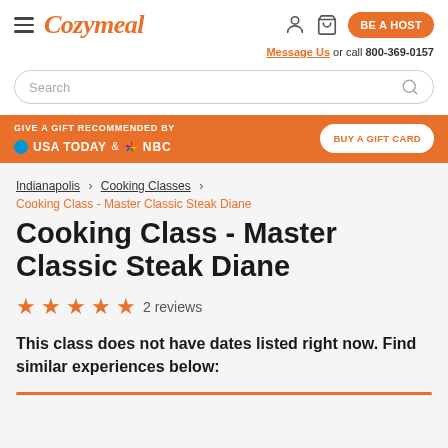Cozymeal | BE A HOST | Message Us or call 800-369-0157
Search
[Figure (infographic): Orange promotional banner: GIVE A GIFT RECOMMENDED BY USA TODAY & NBC | BUY A GIFT CARD]
Indianapolis > Cooking Classes >
Cooking Class - Master Classic Steak Diane
Cooking Class - Master Classic Steak Diane
★★★★★ 2 reviews
This class does not have dates listed right now. Find similar experiences below: